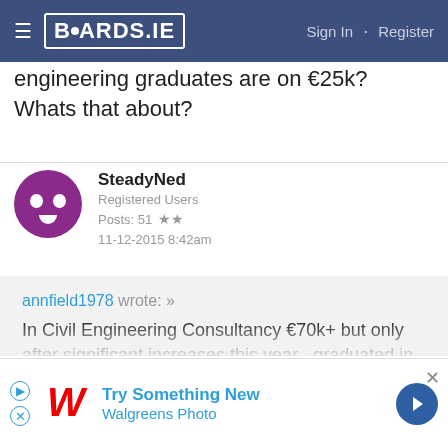BOARDS.IE  Sign In · Register
engineering graduates are on €25k? Whats that about?
SteadyNed
Registered Users
Posts: 51 ★★
11-12-2015 8:42am
annfield1978 wrote: »
In Civil Engineering Consultancy €70k+ but only after significant increases this year , graduated in 2000

I personally think Engineers Ireland have alot to answer for in terms of representing the profession, they have sold us down the river
[Figure (other): Walgreens Photo advertisement banner: Try Something New, Walgreens Photo]